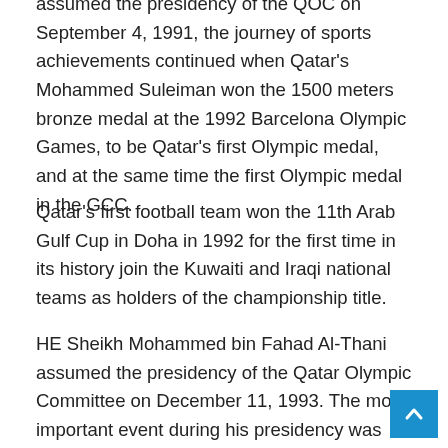assumed the presidency of the QOC on September 4, 1991, the journey of sports achievements continued when Qatar's Mohammed Suleiman won the 1500 meters bronze medal at the 1992 Barcelona Olympic Games, to be Qatar's first Olympic medal, and at the same time the first Olympic medal in the GCC.
Qatar's first football team won the 11th Arab Gulf Cup in Doha in 1992 for the first time in its history join the Kuwaiti and Iraqi national teams as holders of the championship title.
HE Sheikh Mohammed bin Fahad Al-Thani assumed the presidency of the Qatar Olympic Committee on December 11, 1993. The most important event during his presidency was Qatar's hosting of the